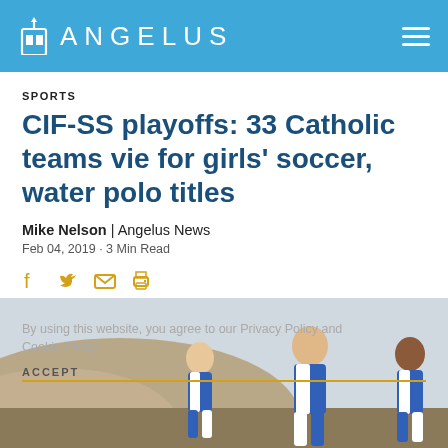ANGELUS
SPORTS
CIF-SS playoffs: 33 Catholic teams vie for girls' soccer, water polo titles
Mike Nelson | Angelus News
Feb 04, 2019 · 3 Min Read
[Figure (illustration): Social share icons: Facebook, Twitter, Email, Print in gold/yellow color]
[Figure (photo): Three girls in blue and white soccer uniforms running outdoors with hills in background]
By using this website, you agree to our Privacy Policy and Cookie Policy
ACCEPT